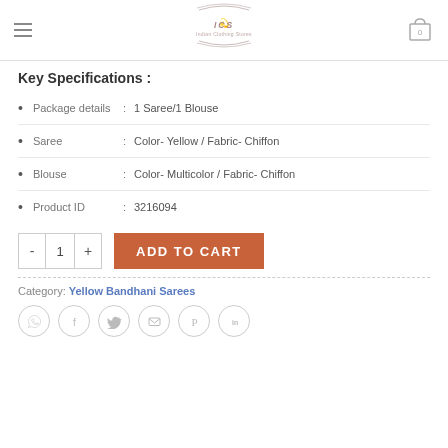ICS Indian Clothing Stores
Key Specifications :
Package details : 1 Saree/1 Blouse
Saree : Color- Yellow / Fabric- Chiffon
Blouse : Color- Multicolor / Fabric- Chiffon
Product ID : 3216094
- 1 + ADD TO CART
Category: Yellow Bandhani Sarees
[Figure (infographic): Row of 6 social share icons: WhatsApp, Facebook, Twitter, Email, Pinterest, LinkedIn]